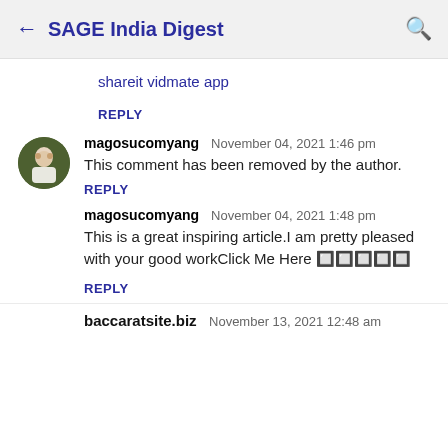← SAGE India Digest 🔍
shareit vidmate app
REPLY
magosucomyang  November 04, 2021 1:46 pm
This comment has been removed by the author.
REPLY
magosucomyang  November 04, 2021 1:48 pm
This is a great inspiring article.I am pretty pleased with your good workClick Me Here 🔲🔲🔲🔲🔲
REPLY
baccaratsite.biz  November 13, 2021 12:48 am